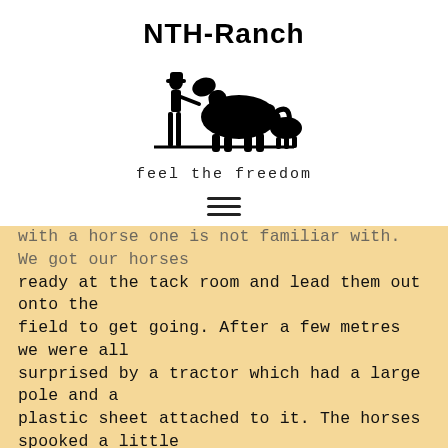[Figure (logo): NTH-Ranch logo with silhouette of cowboy, horse, and foal on a baseline, with text 'NTH-Ranch' above and tagline 'feel the freedom' below]
with a horse one is not familiar with. We got our horses ready at the tack room and lead them out onto the field to get going. After a few metres we were all surprised by a tractor which had a large pole and a plastic sheet attached to it. The horses spooked a little but were happy to travel onwards. Sun stood still to let me mount and she happily followed May's lead in a solid flat walk. We went over sticks and stones, through forests and across fields, uphill and downhill.. We were even slowly followed by a Trabi (really old German car)